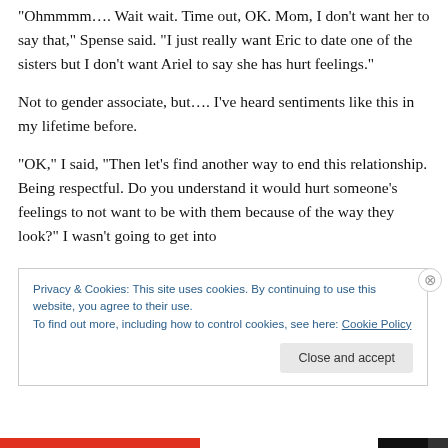“Ohmmmm…. Wait wait. Time out, OK. Mom, I don’t want her to say that,” Spense said. “I just really want Eric to date one of the sisters but I don’t want Ariel to say she has hurt feelings.”
Not to gender associate, but…. I’ve heard sentiments like this in my lifetime before.
“OK,” I said, “Then let’s find another way to end this relationship. Being respectful. Do you understand it would hurt someone’s feelings to not want to be with them because of the way they look?”  I wasn’t going to get into
Privacy & Cookies: This site uses cookies. By continuing to use this website, you agree to their use.
To find out more, including how to control cookies, see here: Cookie Policy
Close and accept